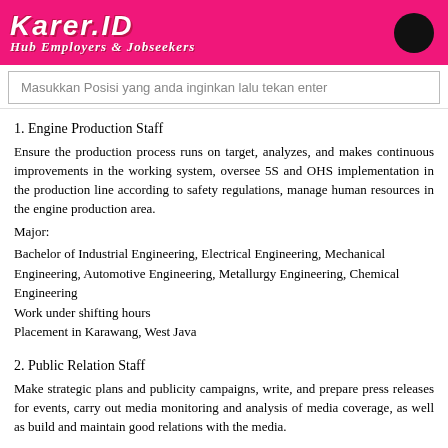Karer.ID | Hub Employers & Jobseekers
Masukkan Posisi yang anda inginkan lalu tekan enter
1. Engine Production Staff
Ensure the production process runs on target, analyzes, and makes continuous improvements in the working system, oversee 5S and OHS implementation in the production line according to safety regulations, manage human resources in the engine production area.
Major:
Bachelor of Industrial Engineering, Electrical Engineering, Mechanical Engineering, Automotive Engineering, Metallurgy Engineering, Chemical Engineering
Work under shifting hours
Placement in Karawang, West Java
2. Public Relation Staff
Make strategic plans and publicity campaigns, write, and prepare press releases for events, carry out media monitoring and analysis of media coverage, as well as build and maintain good relations with the media.